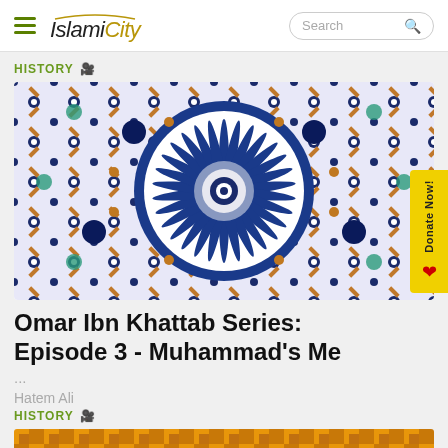IslamiCity
HISTORY
[Figure (photo): Islamic geometric mosaic tile pattern with blue circular starburst design in center surrounded by intricate multicolored geometric patterns in blue, teal, copper and white]
Omar Ibn Khattab Series: Episode 3 - Muhammad's Me
...
Hatem Ali
HISTORY
[Figure (photo): Bottom strip showing orange/golden geometric pattern, partially visible]